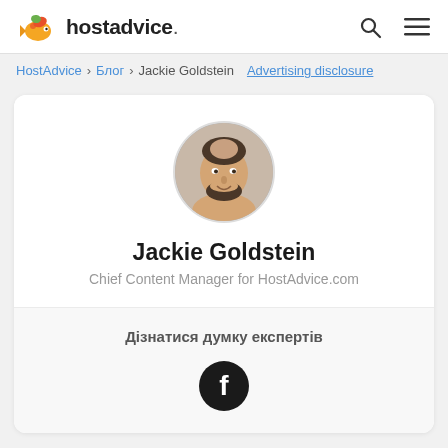hostadvice.
HostAdvice > Блог > Jackie Goldstein  Advertising disclosure
[Figure (photo): Circular profile photo of Jackie Goldstein, a man with short dark hair and beard, smiling]
Jackie Goldstein
Chief Content Manager for HostAdvice.com
Дізнатися думку експертів
[Figure (logo): Facebook logo icon — white 'f' on black circle]